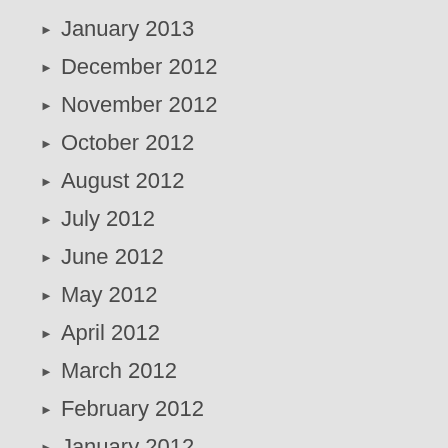January 2013
December 2012
November 2012
October 2012
August 2012
July 2012
June 2012
May 2012
April 2012
March 2012
February 2012
January 2012
December 2011